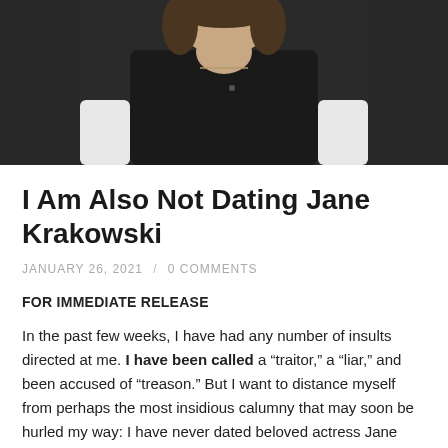[Figure (photo): Photo of a woman with dark hair wearing a black sleeveless top, seated in a white chair, photographed from mid-torso up against a dark background]
I Am Also Not Dating Jane Krakowski
JANUARY 26, 2021 / 0 COMMENTS
FOR IMMEDIATE RELEASE
In the past few weeks, I have had any number of insults directed at me. I have been called a “traitor,” a “liar,” and been accused of “treason.” But I want to distance myself from perhaps the most insidious calumny that may soon be hurled my way: I have never dated beloved actress Jane Krakowski.